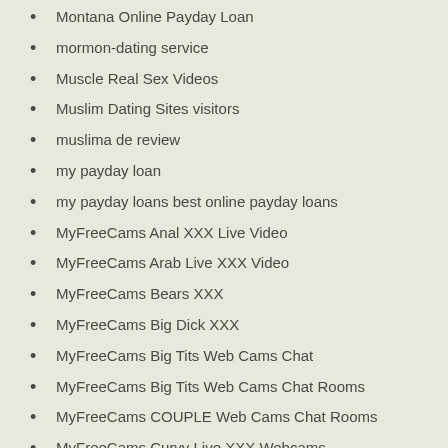Montana Online Payday Loan
mormon-dating service
Muscle Real Sex Videos
Muslim Dating Sites visitors
muslima de review
my payday loan
my payday loans best online payday loans
MyFreeCams Anal XXX Live Video
MyFreeCams Arab Live XXX Video
MyFreeCams Bears XXX
MyFreeCams Big Dick XXX
MyFreeCams Big Tits Web Cams Chat
MyFreeCams Big Tits Web Cams Chat Rooms
MyFreeCams COUPLE Web Cams Chat Rooms
MyFreeCams Curvy Live XXX Webcams